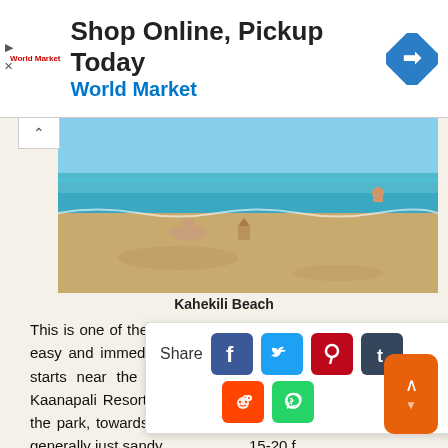[Figure (infographic): Advertisement banner: 'Shop Online, Pickup Today' with World Market branding and navigation icon]
[Figure (photo): Beach photo of Kahekili Beach showing sandy shore, people, and clear blue water]
Kahekili Beach
This is one of the top beaches in Maui for snorkeling with easy and immediate access to the reef. The coral reef starts near the public park, just south of the Westin Kaanapali Resort Villas South, and runs north. South of the park, towards Black Rock, has very little coral and is generally just sandy. 15-20 holes in th re and abundant p life plus an
[Figure (screenshot): Social media share panel showing Share label with Facebook, Twitter, Pinterest, Tumblr, Reddit, and WhatsApp icons]